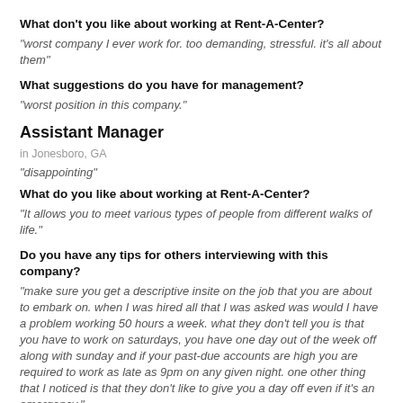What don't you like about working at Rent-A-Center?
"worst company I ever work for. too demanding, stressful. it's all about them"
What suggestions do you have for management?
"worst position in this company."
Assistant Manager
in Jonesboro, GA
"disappointing"
What do you like about working at Rent-A-Center?
"It allows you to meet various types of people from different walks of life."
Do you have any tips for others interviewing with this company?
"make sure you get a descriptive insite on the job that you are about to embark on. when I was hired all that I was asked was would I have a problem working 50 hours a week. what they don't tell you is that you have to work on saturdays, you have one day out of the week off along with sunday and if your past-due accounts are high you are required to work as late as 9pm on any given night. one other thing that I noticed is that they don't like to give you a day off even if it's an emergency."